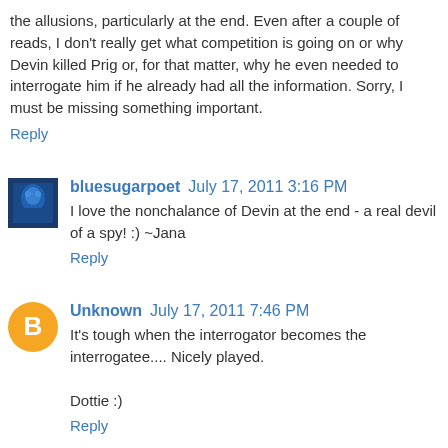the allusions, particularly at the end. Even after a couple of reads, I don't really get what competition is going on or why Devin killed Prig or, for that matter, why he even needed to interrogate him if he already had all the information. Sorry, I must be missing something important.
Reply
bluesugarpoet  July 17, 2011 3:16 PM
I love the nonchalance of Devin at the end - a real devil of a spy! :) ~Jana
Reply
Unknown  July 17, 2011 7:46 PM
It's tough when the interrogator becomes the interrogatee.... Nicely played.

Dottie :)
Reply